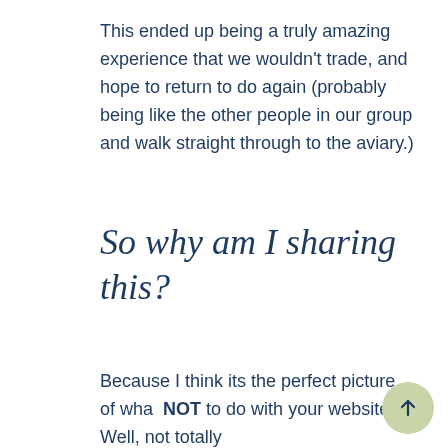This ended up being a truly amazing experience that we wouldn't trade, and hope to return to do again (probably being like the other people in our group and walk straight through to the aviary.)
So why am I sharing this?
Because I think its the perfect picture of what NOT to do with your website. Well, not totally